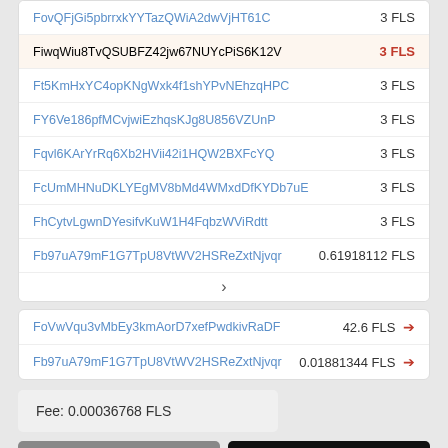| Address | Amount |
| --- | --- |
| FovQFjGi5pbrrxkYYTazQWiA2dwVjHT61C | 3 FLS |
| FiwqWiu8TvQSUBFZ42jw67NUYcPiS6K12V | 3 FLS |
| Ft5KmHxYC4opKNgWxk4f1shYPvNEhzqHPC | 3 FLS |
| FY6Ve186pfMCvjwiEzhqsKJg8U856VZUnP | 3 FLS |
| Fqvl6KArYrRq6Xb2HVii42i1HQW2BXFcYQ | 3 FLS |
| FcUmMHNuDKLYEgMV8bMd4WMxdDfKYDb7uE | 3 FLS |
| FhCytvLgwnDYesifvKuW1H4FqbzWViRdtt | 3 FLS |
| Fb97uA79mF1G7TpU8VtWV2HSReZxtNjvqr | 0.61918112 FLS |
| Address | Amount |
| --- | --- |
| FoVwVqu3vMbEy3kmAorD7xefPwdkivRaDF | 42.6 FLS |
| Fb97uA79mF1G7TpU8VtWV2HSReZxtNjvqr | 0.01881344 FLS |
Fee: 0.00036768 FLS
116808 Confirmations
42.61881344 FLS